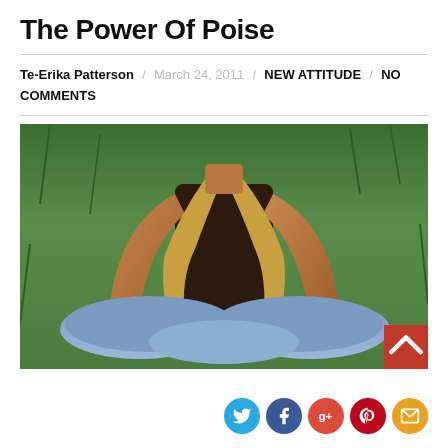The Power Of Poise
Te-Erika Patterson / March 24, 2011 / NEW ATTITUDE / NO COMMENTS
[Figure (photo): A person with a tan scarf sitting cross-legged on green grass, wearing a dark top and light blue jeans, photographed from the neck down.]